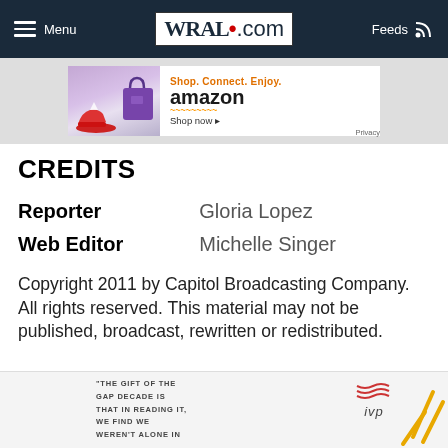Menu | WRAL.com | Feeds
[Figure (screenshot): Amazon advertisement banner: Shop. Connect. Enjoy. amazon Shop now]
CREDITS
| Reporter | Gloria Lopez |
| Web Editor | Michelle Singer |
Copyright 2011 by Capitol Broadcasting Company. All rights reserved. This material may not be published, broadcast, rewritten or redistributed.
[Figure (infographic): IVP advertisement with text: THE GIFT OF THE GAP DECADE IS THAT IN READING IT, WE FIND WE WEREN'T ALONE IN]